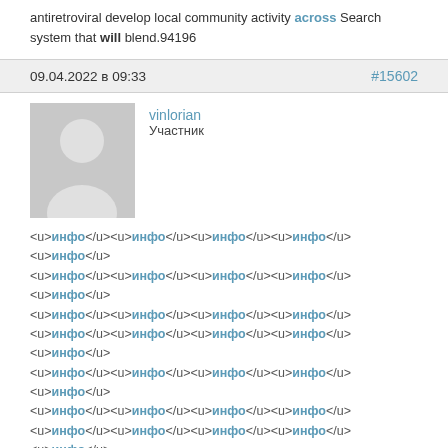antiretroviral develop local community activity across Search system that will blend.94196
09.04.2022 в 09:33   #15602
vinlorian
Участник
<u>инфо</u><u>инфо</u><u>инфо</u><u>инфо</u><u>инфо</u> (repeated pattern of <u>инфо</u> tags)